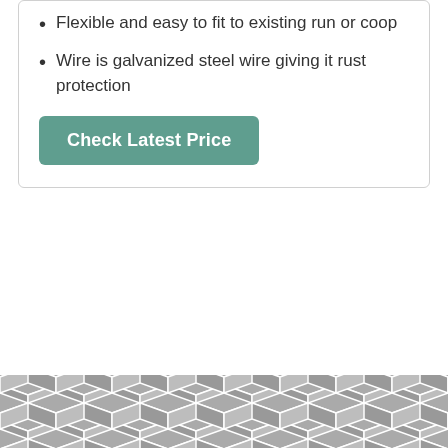Flexible and easy to fit to existing run or coop
Wire is galvanized steel wire giving it rust protection
Check Latest Price
[Figure (illustration): Geometric hexagon/diamond repeating pattern in grey and white, resembling a wire mesh or tiled surface]